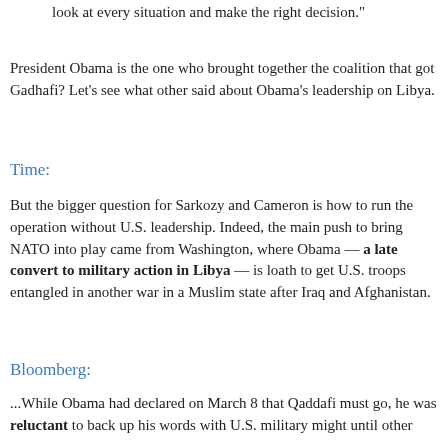look at every situation and make the right decision."
President Obama is the one who brought together the coalition that got Gadhafi? Let's see what other said about Obama's leadership on Libya.
Time:
But the bigger question for Sarkozy and Cameron is how to run the operation without U.S. leadership. Indeed, the main push to bring NATO into play came from Washington, where Obama — a late convert to military action in Libya — is loath to get U.S. troops entangled in another war in a Muslim state after Iraq and Afghanistan.
Bloomberg:
...While Obama had declared on March 8 that Qaddafi must go, he was reluctant to back up his words with U.S. military might until other nations got on board the United Nations...